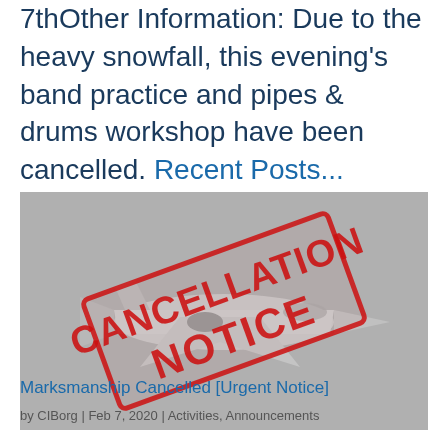7thOther Information: Due to the heavy snowfall, this evening's band practice and pipes & drums workshop have been cancelled. Recent Posts...
[Figure (illustration): A grayscale image of a military jet aircraft with a red distressed stamp overlay reading 'CANCELLATION NOTICE' in large bold letters, rotated diagonally.]
Marksmanship Cancelled [Urgent Notice]
by CIBorg | Feb 7, 2020 | Activities, Announcements